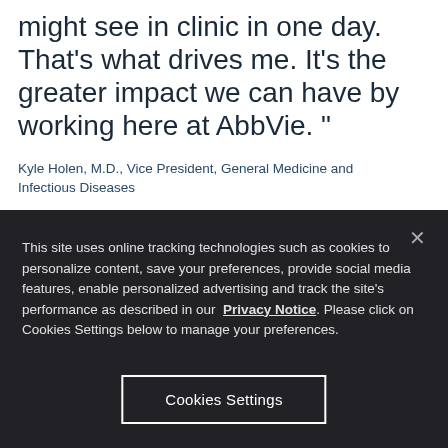might see in clinic in one day. That's what drives me. It's the greater impact we can have by working here at AbbVie. "
Kyle Holen, M.D., Vice President, General Medicine and Infectious Diseases
This site uses online tracking technologies such as cookies to personalize content, save your preferences, provide social media features, enable personalized advertising and track the site's performance as described in our Privacy Notice. Please click on Cookies Settings below to manage your preferences.
Cookies Settings